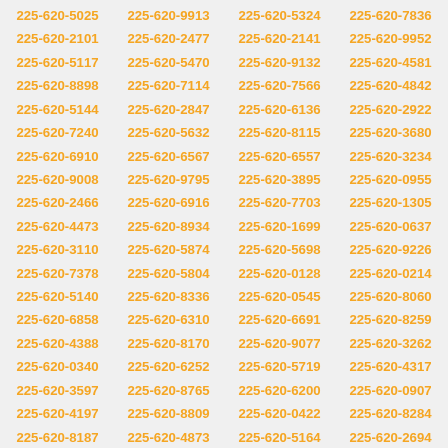225-620-5025 225-620-9913 225-620-5324 225-620-7836 225-620-2101 225-620-2477 225-620-2141 225-620-9952 225-620-5117 225-620-5470 225-620-9132 225-620-4581 225-620-8898 225-620-7114 225-620-7566 225-620-4842 225-620-5144 225-620-2847 225-620-6136 225-620-2922 225-620-7240 225-620-5632 225-620-8115 225-620-3680 225-620-6910 225-620-6567 225-620-6557 225-620-3234 225-620-9008 225-620-9795 225-620-3895 225-620-0955 225-620-2466 225-620-6916 225-620-7703 225-620-1305 225-620-4473 225-620-8934 225-620-1699 225-620-0637 225-620-3110 225-620-5874 225-620-5698 225-620-9226 225-620-7378 225-620-5804 225-620-0128 225-620-0214 225-620-5140 225-620-8336 225-620-0545 225-620-8060 225-620-6858 225-620-6310 225-620-6691 225-620-8259 225-620-4388 225-620-8170 225-620-9077 225-620-3262 225-620-0340 225-620-6252 225-620-5719 225-620-4317 225-620-3597 225-620-8765 225-620-6200 225-620-0907 225-620-4197 225-620-8809 225-620-0422 225-620-8284 225-620-8187 225-620-4873 225-620-5164 225-620-2694 225-620-7685 225-620-9743 225-620-3706 225-620-1521 225-620-4123 225-620-0767 225-620-3767 225-620-6078 225-620-5438 225-620-0751 225-620-3777 225-620-2266 225-620-0984 225-620-3443 225-620-1225 225-620-7906 225-620-7481 225-620-1976 225-620-0773 225-620-9519 225-620-9458 225-620-5565 225-620-7931 225-620-5359 225-620-9315 225-620-4142 225-620-6329 225-620-5806 225-620-9438 225-620-9544 225-620-5714 225-620-7725 225-620-4380 225-620-0792 225-620-0658 225-620-9531 225-620-2873 225-620-0580 225-620-3325 225-620-9489 225-620-5497 225-620-3900 225-620-1511 225-620-5618